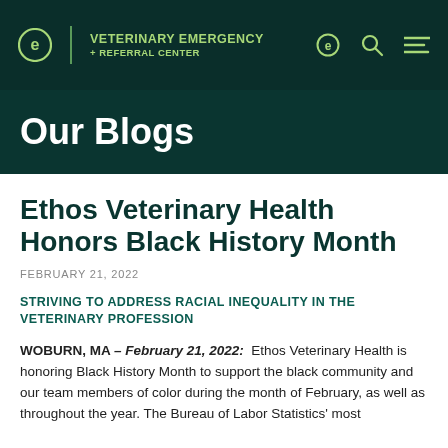VETERINARY EMERGENCY + REFERRAL CENTER
Our Blogs
Ethos Veterinary Health Honors Black History Month
FEBRUARY 21, 2022
STRIVING TO ADDRESS RACIAL INEQUALITY IN THE VETERINARY PROFESSION
WOBURN, MA – February 21, 2022: Ethos Veterinary Health is honoring Black History Month to support the black community and our team members of color during the month of February, as well as throughout the year. The Bureau of Labor Statistics' most